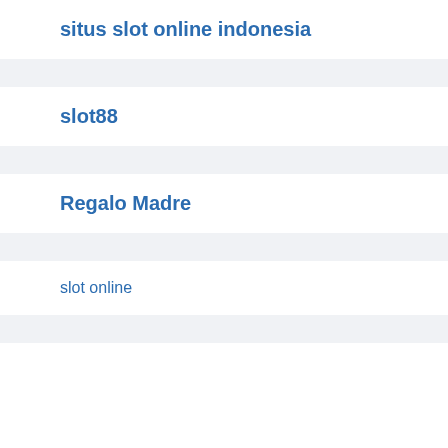situs slot online indonesia
slot88
Regalo Madre
slot online